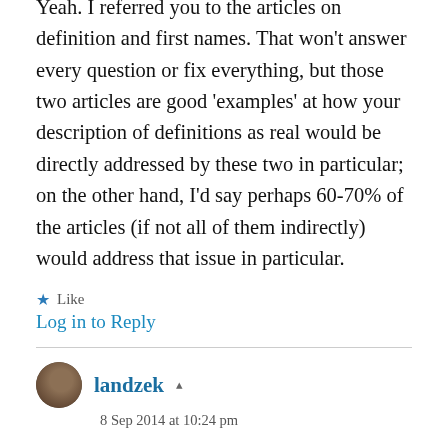Yeah. I referred you to the articles on definition and first names. That won't answer every question or fix everything, but those two articles are good 'examples' at how your description of definitions as real would be directly addressed by these two in particular; on the other hand, I'd say perhaps 60-70% of the articles (if not all of them indirectly) would address that issue in particular.
★ Like
Log in to Reply
landzek ✦
8 Sep 2014 at 10:24 pm
Hey now. My copy of P and NP came,